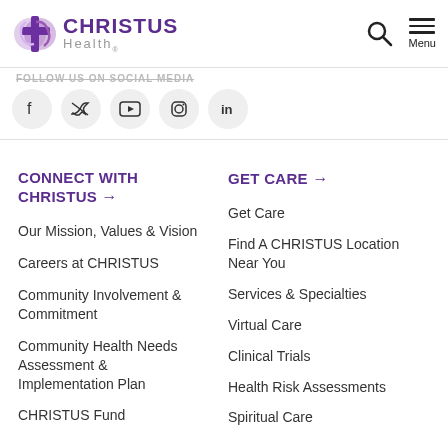[Figure (logo): CHRISTUS Health logo with purple cross and text]
[Figure (infographic): Navigation icons: search and hamburger menu with Menu label]
FOLLOW US ON SOCIAL MEDIA
[Figure (infographic): Social media icons in grey circles: Facebook, Twitter, YouTube, Instagram, LinkedIn]
CONNECT WITH CHRISTUS →
Our Mission, Values & Vision
Careers at CHRISTUS
Community Involvement & Commitment
Community Health Needs Assessment & Implementation Plan
CHRISTUS Fund
GET CARE →
Get Care
Find A CHRISTUS Location Near You
Services & Specialties
Virtual Care
Clinical Trials
Health Risk Assessments
Spiritual Care